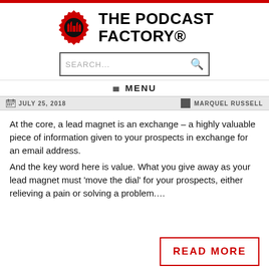[Figure (logo): The Podcast Factory logo with red gear/cog icon and bold black text]
[Figure (screenshot): Search bar with placeholder text SEARCH... and magnifying glass icon]
≡ MENU
JULY 25, 2018   MARQUEL RUSSELL
At the core, a lead magnet is an exchange – a highly valuable piece of information given to your prospects in exchange for an email address.
And the key word here is value. What you give away as your lead magnet must 'move the dial' for your prospects, either relieving a pain or solving a problem....
READ MORE